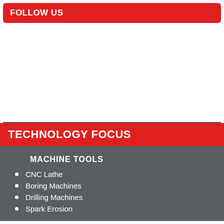FOLLOW US
[Figure (other): Empty white area below FOLLOW US bar]
TECHNOLOGY FOCUS
MACHINE TOOLS
CNC Lathe
Boring Machines
Drilling Machines
Spark Erosion